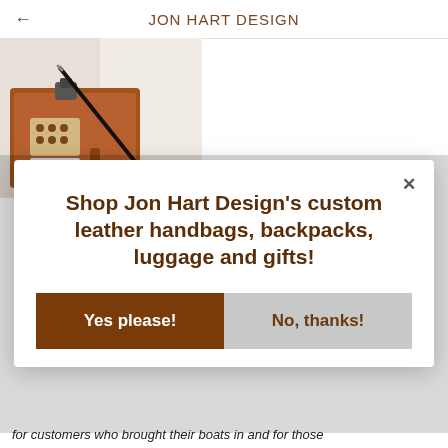JON HART DESIGN
[Figure (photo): Product photo showing a brown leather clipboard/portfolio with a pen and accessories on a white surface]
Shop Jon Hart Design's custom leather handbags, backpacks, luggage and gifts!
Yes please!
No, thanks!
for customers who brought their boats in and for those